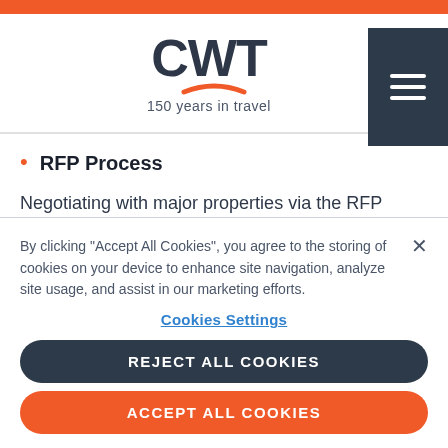CWT — 150 years in travel
RFP Process
Negotiating with major properties via the RFP process is not going away. All the hours spent negotiating via RFPs can make us daydream about a new, innovative
By clicking “Accept All Cookies”, you agree to the storing of cookies on your device to enhance site navigation, analyze site usage, and assist in our marketing efforts.
Cookies Settings
REJECT ALL COOKIES
ACCEPT ALL COOKIES